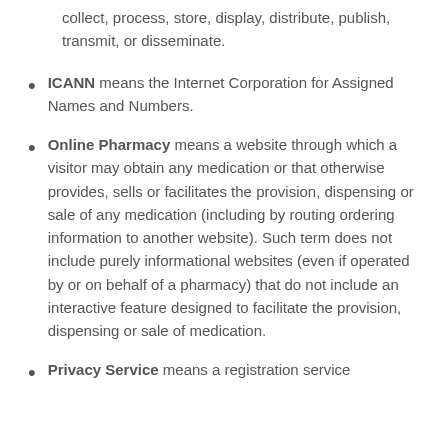collect, process, store, display, distribute, publish, transmit, or disseminate.
ICANN means the Internet Corporation for Assigned Names and Numbers.
Online Pharmacy means a website through which a visitor may obtain any medication or that otherwise provides, sells or facilitates the provision, dispensing or sale of any medication (including by routing ordering information to another website). Such term does not include purely informational websites (even if operated by or on behalf of a pharmacy) that do not include an interactive feature designed to facilitate the provision, dispensing or sale of medication.
Privacy Service means a registration service